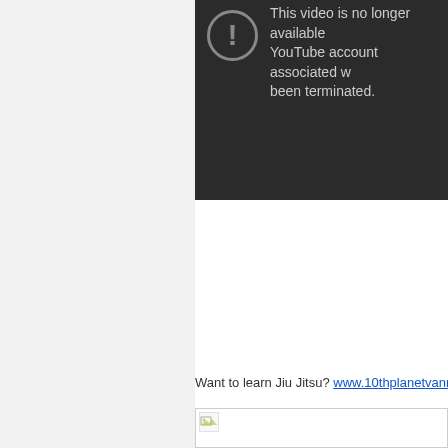[Figure (screenshot): YouTube video error message on dark background: warning icon circle with exclamation mark, text reading 'This video is no longer available because the YouTube account associated with this video has been terminated.']
Want to learn Jiu Jitsu? www.10thplanetvannuys.com
[Figure (photo): Broken/missing image placeholder with small landscape thumbnail icon in top-left corner]